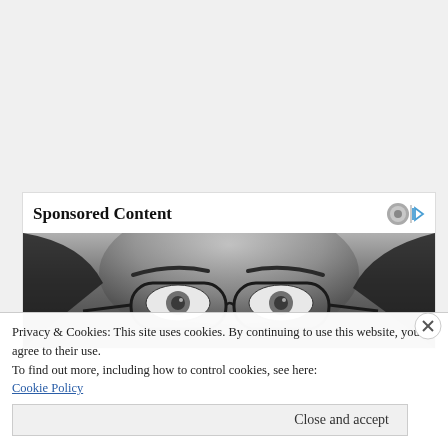Sponsored Content
[Figure (photo): Black and white close-up photo of a person's eyes and forehead wearing round glasses, looking upward]
Privacy & Cookies: This site uses cookies. By continuing to use this website, you agree to their use.
To find out more, including how to control cookies, see here:
Cookie Policy
Close and accept